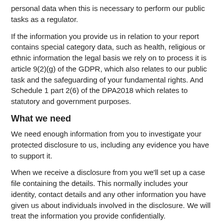personal data when this is necessary to perform our public tasks as a regulator.
If the information you provide us in relation to your report contains special category data, such as health, religious or ethnic information the legal basis we rely on to process it is article 9(2)(g) of the GDPR, which also relates to our public task and the safeguarding of your fundamental rights. And Schedule 1 part 2(6) of the DPA2018 which relates to statutory and government purposes.
What we need
We need enough information from you to investigate your protected disclosure to us, including any evidence you have to support it.
When we receive a disclosure from you we'll set up a case file containing the details. This normally includes your identity, contact details and any other information you have given us about individuals involved in the disclosure. We will treat the information you provide confidentially.